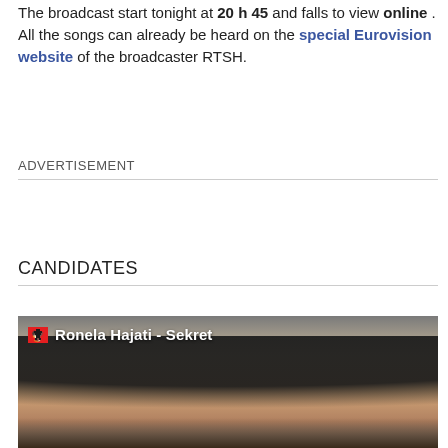The broadcast start tonight at 20 h 45 and falls to view online . All the songs can already be heard on the special Eurovision website of the broadcaster RTSH.
ADVERTISEMENT
CANDIDATES
[Figure (photo): Photo of Ronela Hajati wearing a large black wide-brim hat, with blonde hair and wearing black gloves. Albanian flag icon shown. Caption overlay: Ronela Hajati - Sekret]